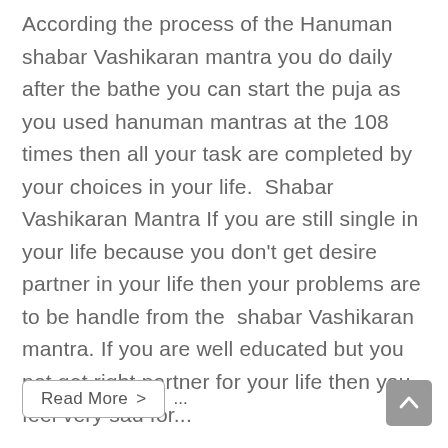According the process of the Hanuman shabar Vashikaran mantra you do daily after the bathe you can start the puja as you used hanuman mantras at the 108 times then all your task are completed by your choices in your life.  Shabar Vashikaran Mantra If you are still single in your life because you don't get desire partner in your life then your problems are to be handle from the  shabar Vashikaran mantra. If you are well educated but you not get right partner for your life then you feel very sad for...
Read More >